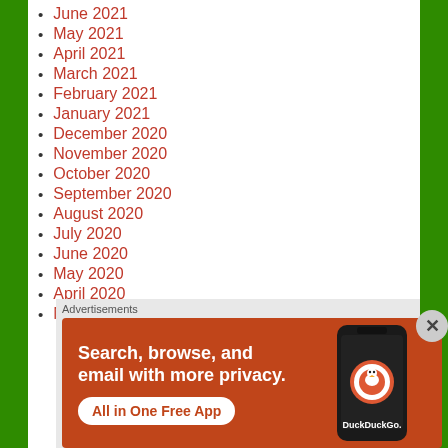June 2021
May 2021
April 2021
March 2021
February 2021
January 2021
December 2020
November 2020
October 2020
September 2020
August 2020
July 2020
June 2020
May 2020
April 2020
March 2020
Advertisements
[Figure (other): DuckDuckGo advertisement banner with text 'Search, browse, and email with more privacy. All in One Free App' and an image of a mobile phone with DuckDuckGo logo]